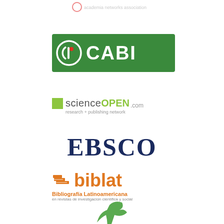[Figure (logo): Partial/faint logo at top of page (partially cut off)]
[Figure (logo): CABI logo - green background with circular icon and white CABI text]
[Figure (logo): scienceOPEN.com logo - research + publishing network]
[Figure (logo): EBSCO logo in dark navy serif text]
[Figure (logo): biblat (Bibliografía Latinoamericana) logo with book icon in orange]
[Figure (logo): Partial green bird/crane logo at bottom of page (partially cut off)]